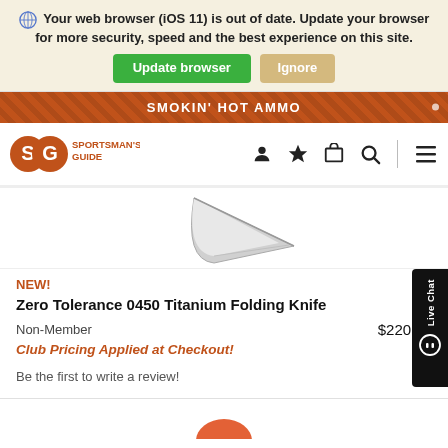Your web browser (iOS 11) is out of date. Update your browser for more security, speed and the best experience on this site. Update browser | Ignore
SMOKIN' HOT AMMO
[Figure (logo): Sportsman's Guide SG logo with orange deer icon and text SPORTSMAN'S GUIDE, along with navigation icons: person, star, cart, search, hamburger menu]
[Figure (photo): Partial view of a knife blade (Zero Tolerance 0450 Titanium Folding Knife), showing the tip of the blade against white background]
NEW!
Zero Tolerance 0450 Titanium Folding Knife
Non-Member $220.00
Club Pricing Applied at Checkout!
Be the first to write a review!
[Figure (photo): Bottom portion of a product image, partially visible (red/orange object at bottom of page)]